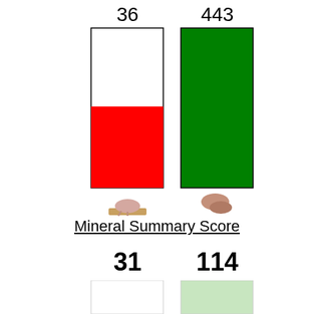[Figure (bar-chart): Comparison bar chart]
Mineral Summary Score
31   114
[Figure (bar-chart): Mineral summary score bars]